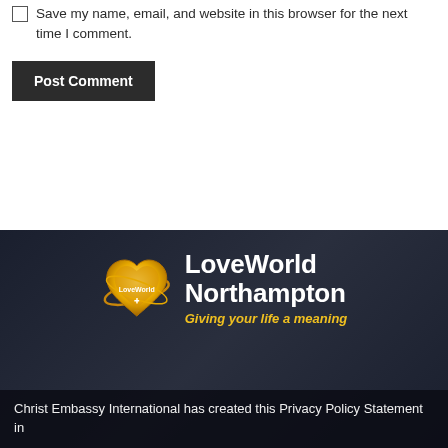Save my name, email, and website in this browser for the next time I comment.
Post Comment
[Figure (logo): LoveWorld Northampton logo — golden heart-shaped emblem with 'LoveWorld' text, accompanied by bold white text 'LoveWorld Northampton' and italic tagline 'Giving your life a meaning' on dark background]
Christ Embassy International has created this Privacy Policy Statement in